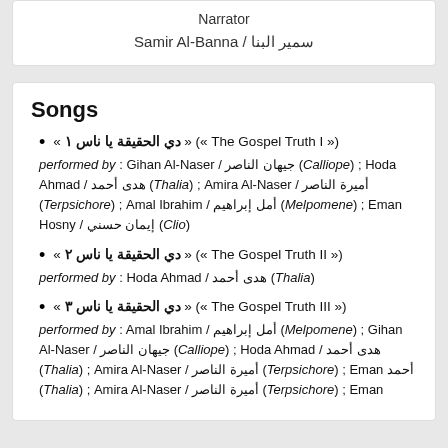Narrator
Samir Al-Banna / سمير البنا
Songs
« دي الحقيقة يا ناس ١ » (« The Gospel Truth I »)
performed by : Gihan Al-Naser / جيهان الناصر (Calliope) ; Hoda Ahmad / هدى أحمد (Thalia) ; Amira Al-Naser / أميرة الناصر (Terpsichore) ; Amal Ibrahim / أمل إبراهيم (Melpomene) ; Eman Hosny / إيمان حسني (Clio)
« دي الحقيقة يا ناس ٢ » (« The Gospel Truth II »)
performed by : Hoda Ahmad / هدى أحمد (Thalia)
« دي الحقيقة يا ناس ٣ » (« The Gospel Truth III »)
performed by : Amal Ibrahim / أمل إبراهيم (Melpomene) ; Gihan Al-Naser / جيهان الناصر (Calliope) ; Hoda Ahmad / هدى أحمد (Thalia) ; Amira Al-Naser / أميرة الناصر (Terpsichore) ; Eman أحمد (Thalia) ; Amira Al-Naser / أميرة الناصر (Terpsichore) ; Eman